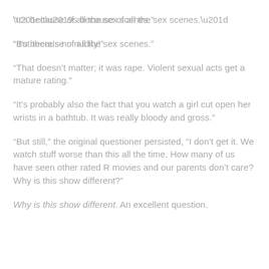“It’s because of all the sex scenes.”
“But there’s no nudity!”
“That doesn’t matter; it was rape. Violent sexual acts get a mature rating.”
“It’s probably also the fact that you watch a girl cut open her wrists in a bathtub. It was really bloody and gross.”
“But still,” the original questioner persisted, “I don’t get it. We watch stuff worse than this all the time. How many of us have seen other rated R movies and our parents don’t care? Why is this show different?”
Why is this show different. An excellent question.